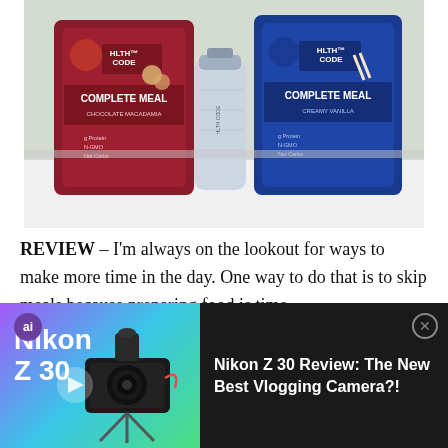[Figure (photo): Two bags of HLTH Code Complete Meal (Chocolate Macadamia in red, Creamy Vanilla in blue) on a white counter with a HLTH Code branded shaker bottle in the center]
REVIEW – I'm always on the lookout for ways to make more time in the day. One way to do that is to skip meals because preparing food is time-
[Figure (screenshot): Video ad overlay: Nikon Z 30 Review: The New Best Vlogging Camera?! with thumbnail showing gradient background and camera on tripod]